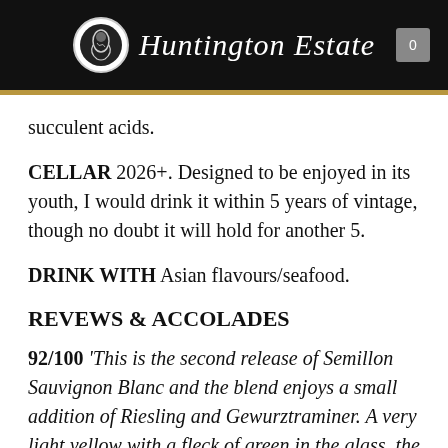Huntington Estate
succulent acids.
CELLAR 2026+. Designed to be enjoyed in its youth, I would drink it within 5 years of vintage, though no doubt it will hold for another 5.
DRINK WITH Asian flavours/seafood.
REVEWS & ACCOLADES
92/100 'This is the second release of Semillon Sauvignon Blanc and the blend enjoys a small addition of Riesling and Gewurztraminer. A very light yellow with a fleck of green in the glass, the aromatics see lemon curd, orange blossom and background tropical notes. The